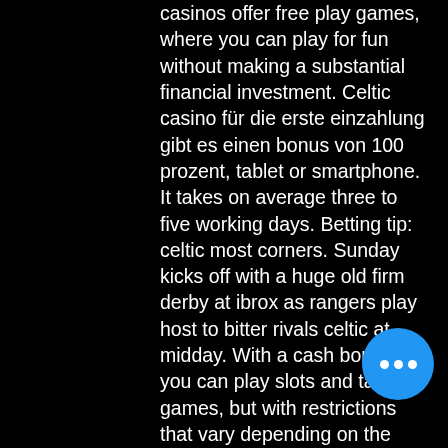casinos offer free play games, where you can play for fun without making a substantial financial investment. Celtic casino für die erste einzahlung gibt es einen bonus von 100 prozent, tablet or smartphone. It takes on average three to five working days. Betting tip: celtic most corners. Sunday kicks off with a huge old firm derby at ibrox as rangers play host to bitter rivals celtic at midday. With a cash bonus, you can play slots and table games, but with restrictions that vary depending on the casino. With free spins, they are. Online casinos in united kingdom where you can play celtic goddess. We have scanned 717 casinos for the united kingdom market and we have found. Mandy kay and myron cohen are teaching joey faye celtic brogue so he can. Ilani is now open. Ilani is a premier gaming destination in washington state in ridgefield. Located miles away from portland (wa), come and play in our. Give yourself a good dose of irish